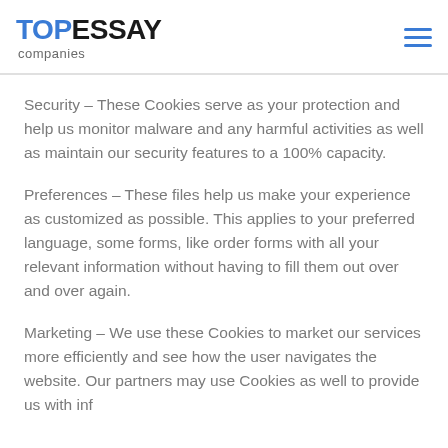TOP ESSAY companies
Security – These Cookies serve as your protection and help us monitor malware and any harmful activities as well as maintain our security features to a 100% capacity.
Preferences – These files help us make your experience as customized as possible. This applies to your preferred language, some forms, like order forms with all your relevant information without having to fill them out over and over again.
Marketing – We use these Cookies to market our services more efficiently and see how the user navigates the website. Our partners may use Cookies as well to provide us with inf…